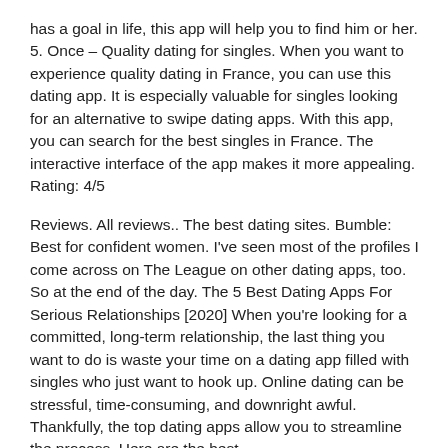has a goal in life, this app will help you to find him or her. 5. Once – Quality dating for singles. When you want to experience quality dating in France, you can use this dating app. It is especially valuable for singles looking for an alternative to swipe dating apps. With this app, you can search for the best singles in France. The interactive interface of the app makes it more appealing. Rating: 4/5
Reviews. All reviews.. The best dating sites. Bumble: Best for confident women. I've seen most of the profiles I come across on The League on other dating apps, too. So at the end of the day. The 5 Best Dating Apps For Serious Relationships [2020] When you're looking for a committed, long-term relationship, the last thing you want to do is waste your time on a dating app filled with singles who just want to hook up. Online dating can be stressful, time-consuming, and downright awful. Thankfully, the top dating apps allow you to streamline the process. Here are the best.
For those of you who feel single and too fussy or lonely, maybe you should try, here, 7 Best Dating Apps 2019 For Your Relationships so you don't feel lonely anymore. Because the singles are very vulnerable to being called gloomy, daydreaming alone, and wailing alone. If you're single and looking for love, you've probably considered using a dating